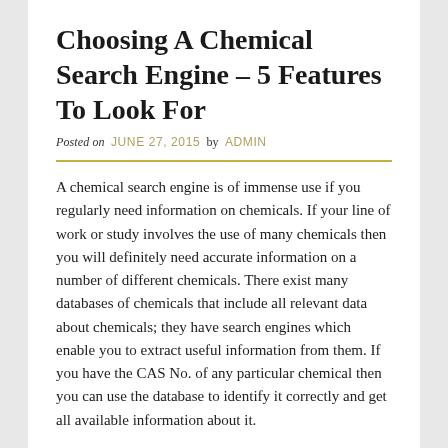Choosing A Chemical Search Engine – 5 Features To Look For
Posted on JUNE 27, 2015 by ADMIN
A chemical search engine is of immense use if you regularly need information on chemicals. If your line of work or study involves the use of many chemicals then you will definitely need accurate information on a number of different chemicals. There exist many databases of chemicals that include all relevant data about chemicals; they have search engines which enable you to extract useful information from them. If you have the CAS No. of any particular chemical then you can use the database to identify it correctly and get all available information about it.
Be sure to choose the right chemical database and